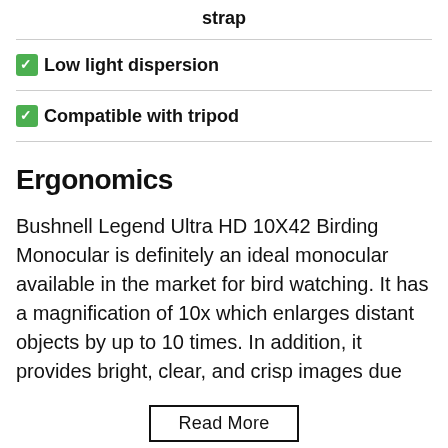strap
Low light dispersion
Compatible with tripod
Ergonomics
Bushnell Legend Ultra HD 10X42 Birding Monocular is definitely an ideal monocular available in the market for bird watching. It has a magnification of 10x which enlarges distant objects by up to 10 times. In addition, it provides bright, clear, and crisp images due
Read More